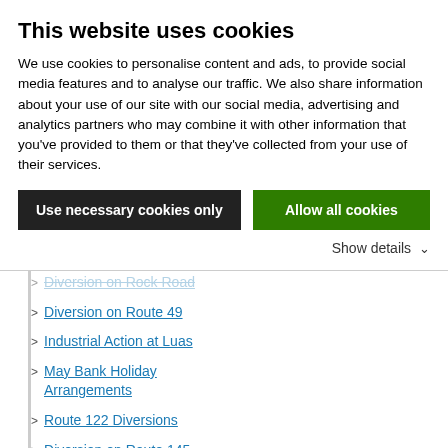This website uses cookies
We use cookies to personalise content and ads, to provide social media features and to analyse our traffic. We also share information about your use of our site with our social media, advertising and analytics partners who may combine it with other information that you've provided to them or that they've collected from your use of their services.
Use necessary cookies only | Allow all cookies
Show details
Diversion on Route 49
Industrial Action at Luas
May Bank Holiday Arrangements
Route 122 Diversions
Diversion on Route 145 and 84x
Commemoration March 14 May
Gumball 3000 Diversions
Diversions in Dunboyne Sunday 24th April
Diversions in Swords Sunday 24th April
Dublin Bus proud to